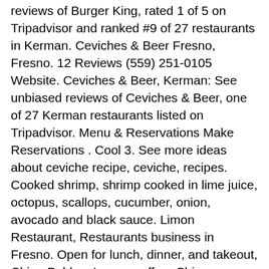reviews of Burger King, rated 1 of 5 on Tripadvisor and ranked #9 of 27 restaurants in Kerman. Ceviches & Beer Fresno, Fresno. 12 Reviews (559) 251-0105 Website. Ceviches & Beer, Kerman: See unbiased reviews of Ceviches & Beer, one of 27 Kerman restaurants listed on Tripadvisor. Menu & Reservations Make Reservations . Cool 3. See more ideas about ceviche recipe, ceviche, recipes. Cooked shrimp, shrimp cooked in lime juice, octopus, scallops, cucumber, onion, avocado and black sauce. Limon Restaurant, Restaurants business in Fresno. Open for lunch, dinner, and takeout, China Poblano's menu offers Chinese noodles, dim sum and soups, served alongside tacos, guacamole, and ceviches. 4815 E McKinley Ave, Fresno, CA 93703. Yosemite Falls Cafe. To communicate or ask something with the place, the Phone number is (559) 842-3020. 59,481 were here. Find 3030 listings related to Beer Garden in Fresno on YP.com. Hugo's Ceviches: Best Ceviche in Antigua - See 72 traveller reviews, 31 candid photos, and great deals for Antigua, Guatemala, at Tripadvisor. Ceviches & Beer Fresno, Fresno. On the street of North Madera Avenue and street number is 170. Subway - 4831 E